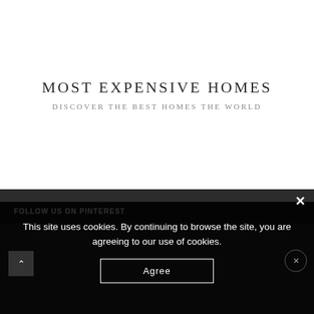MOST EXPENSIVE HOMES
DISCOVER THE BEST HOMES THE WORLD
FOLLOW US ON PINTEREST
This site uses cookies. By continuing to browse the site, you are agreeing to our use of cookies.
Agree